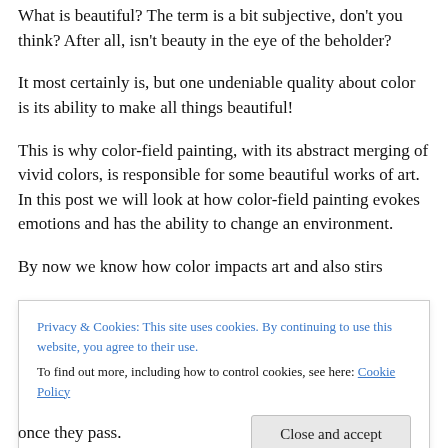What is beautiful? The term is a bit subjective, don't you think? After all, isn't beauty in the eye of the beholder?
It most certainly is, but one undeniable quality about color is its ability to make all things beautiful!
This is why color-field painting, with its abstract merging of vivid colors, is responsible for some beautiful works of art. In this post we will look at how color-field painting evokes emotions and has the ability to change an environment.
By now we know how color impacts art and also stirs emotions in people. But, certain discoveries on the…
Privacy & Cookies: This site uses cookies. By continuing to use this website, you agree to their use. To find out more, including how to control cookies, see here: Cookie Policy
Close and accept
once they pass.